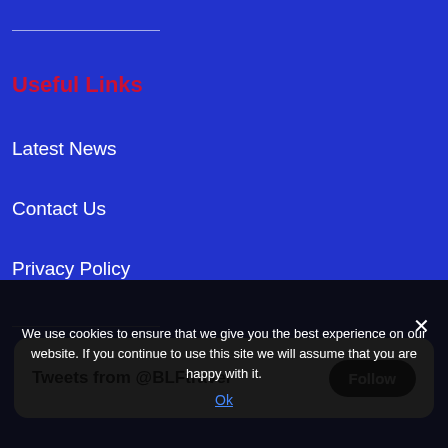Useful Links
Latest News
Contact Us
Privacy Policy
[Figure (screenshot): Twitter/X widget card showing 'Tweets from @BLFtravel' with a Follow button]
We use cookies to ensure that we give you the best experience on our website. If you continue to use this site we will assume that you are happy with it.
Ok